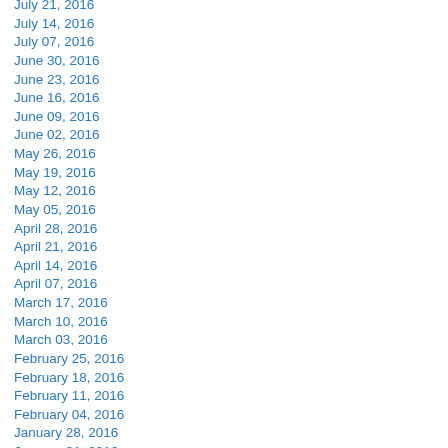July 21, 2016
July 14, 2016
July 07, 2016
June 30, 2016
June 23, 2016
June 16, 2016
June 09, 2016
June 02, 2016
May 26, 2016
May 19, 2016
May 12, 2016
May 05, 2016
April 28, 2016
April 21, 2016
April 14, 2016
April 07, 2016
March 17, 2016
March 10, 2016
March 03, 2016
February 25, 2016
February 18, 2016
February 11, 2016
February 04, 2016
January 28, 2016
January 21, 2016